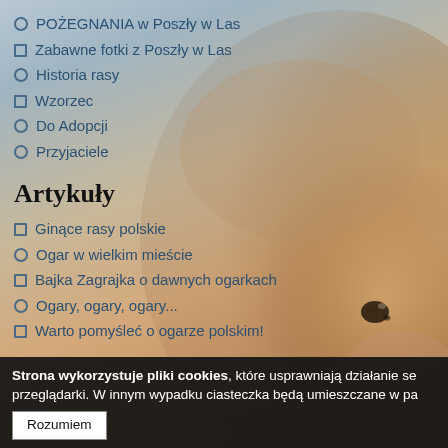POŻEGNANIA w Poszły w Las
Zabawne fotki z Poszły w Las
Historia rasy
Wzorzec
Do Adopcji
Przyjaciele
Artykuły
Ginące rasy polskie
Ogar w wielkim mieście
Bajka Zagrajka o dawnych ogarkach
Ogary, ogary, ogary...
Warto pomyśleć o ogarze polskim!
Strona wykorzystuje pliki cookies, które usprawniają działanie se przeglądarki. W innym wypadku ciasteczka będą umieszczane w pa
Rozumiem